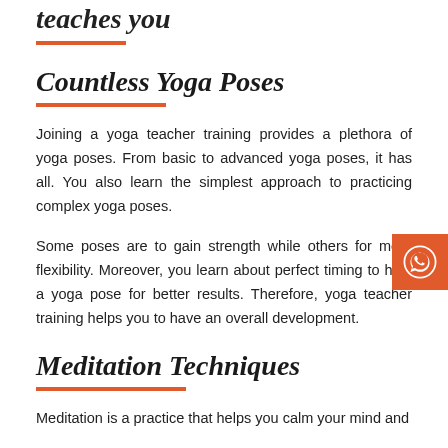...teaches you
Countless Yoga Poses
Joining a yoga teacher training provides a plethora of yoga poses. From basic to advanced yoga poses, it has all. You also learn the simplest approach to practicing complex yoga poses.
Some poses are to gain strength while others for more flexibility. Moreover, you learn about perfect timing to hold a yoga pose for better results. Therefore, yoga teacher training helps you to have an overall development.
Meditation Techniques
Meditation is a practice that helps you calm your mind and